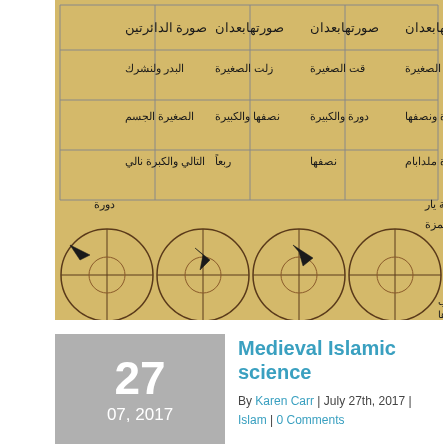[Figure (photo): A medieval Islamic manuscript page showing Arabic text arranged in a grid with four circles drawn below, each containing geometric inscriptions. The manuscript is on yellowed parchment with black ink Arabic script.]
27
07, 2017
Medieval Islamic science
By Karen Carr | July 27th, 2017 | Islam | 0 Comments